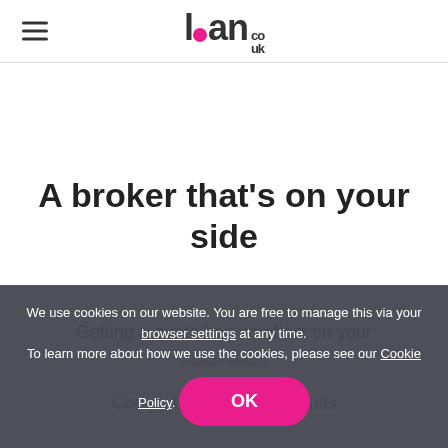loan.co.uk
A broker that's on your side
Getting a quote has no effect on your credit score
Completely unbiased results
We use cookies on our website. You are free to manage this via your browser settings at any time. To learn more about how we use the cookies, please see our Cookie Policy.